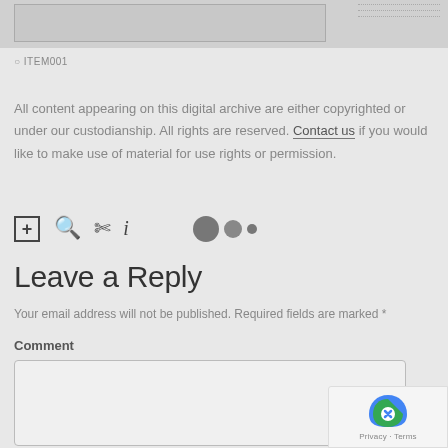[Figure (screenshot): Top portion of a webpage showing a document image preview strip with dotted lines on the right side]
© ITEM001
All content appearing on this digital archive are either copyrighted or under our custodianship. All rights are reserved. Contact us if you would like to make use of material for use rights or permission.
[Figure (infographic): Row of action icons: plus-box, magnify, scissors/download, info; followed by three dots of decreasing size (loading indicator)]
Leave a Reply
Your email address will not be published. Required fields are marked *
Comment
[Figure (screenshot): Comment text area input box, partially visible, with reCAPTCHA badge in bottom right corner showing Privacy · Terms]